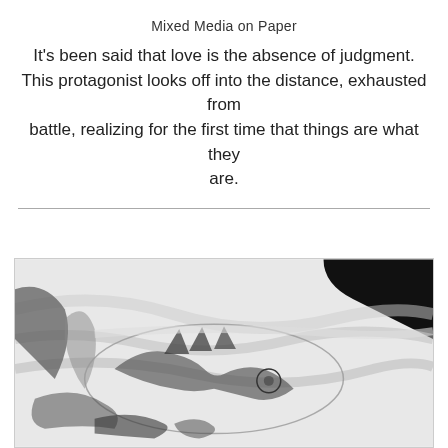Mixed Media on Paper
It's been said that love is the absence of judgment. This protagonist looks off into the distance, exhausted from battle, realizing for the first time that things are what they are.
[Figure (illustration): A mixed media artwork on paper showing a figure or creature depicted in black and white with expressive brush strokes and line work. The image appears to show an animal or creature rendered in a loose, gestural style with ink and charcoal-like marks.]